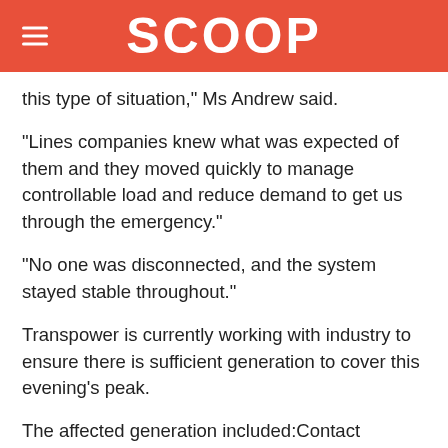SCOOP
this type of situation," Ms Andrew said.
“Lines companies knew what was expected of them and they moved quickly to manage controllable load and reduce demand to get us through the emergency.”
“No one was disconnected, and the system stayed stable throughout.”
Transpower is currently working with industry to ensure there is sufficient generation to cover this evening’s peak.
The affected generation included:Contact Energy’s 105MW Stratford Peaker failed to startOne of Genesis Energy’s Huntly Rankine Units had to temporarily reduce output by 150MWWind generation dropped from a forecast of 90MW to 30MW.Background
Transpower’s role